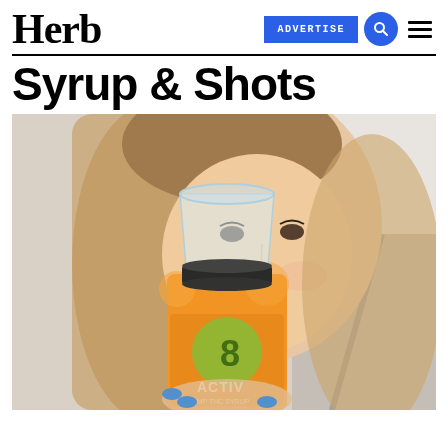Herb
Syrup & Shots
[Figure (photo): A young woman in a car holding up an orange Delta-8 THC hemp syrup bottle (brand: 8IV / ACTIV) with a clear plastic cup on top, smiling behind the product. She has long brownish-blonde hair and blue painted nails.]